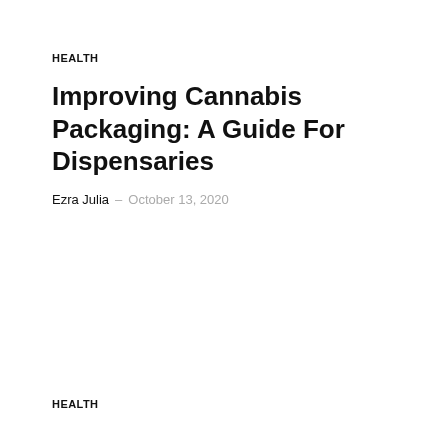HEALTH
Improving Cannabis Packaging: A Guide For Dispensaries
Ezra Julia – October 13, 2020
HEALTH